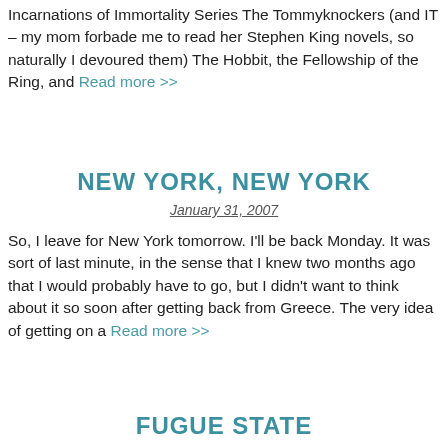Incarnations of Immortality Series The Tommyknockers (and IT – my mom forbade me to read her Stephen King novels, so naturally I devoured them) The Hobbit, the Fellowship of the Ring, and Read more >>
NEW YORK, NEW YORK
January 31, 2007
So, I leave for New York tomorrow. I'll be back Monday. It was sort of last minute, in the sense that I knew two months ago that I would probably have to go, but I didn't want to think about it so soon after getting back from Greece. The very idea of getting on a Read more >>
FUGUE STATE